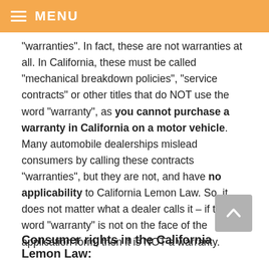MENU
“warranties”. In fact, these are not warranties at all. In California, these must be called “mechanical breakdown policies”, “service contracts” or other titles that do NOT use the word “warranty”, as you cannot purchase a warranty in California on a motor vehicle. Many automobile dealerships mislead consumers by calling these contracts “warranties”, but they are not, and have no applicability to California Lemon Law. So, it does not matter what a dealer calls it – if the word “warranty” is not on the face of the application form, then it is NOT a warranty.
Consumer rights in the California Lemon Law: